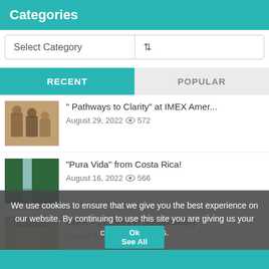Categories
Select Category
RECENT   POPULAR
" Pathways to Clarity" at IMEX Amer...
August 29, 2022  572
"Pura Vida" from Costa Rica!
August 16, 2022  566
IMEX – Leaders in Sustainability
August 8, 2022  772
We use cookies to ensure that we give you the best experience on our website. By continuing to use this site you are giving us your consent to do this.
Ok
See All